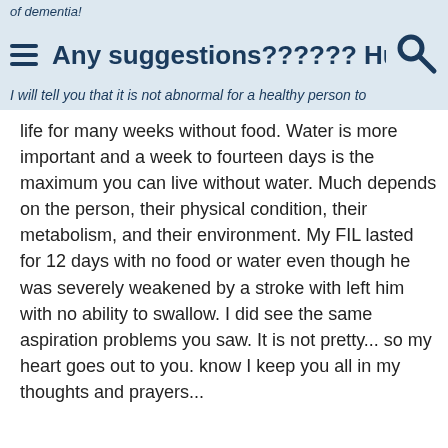of dementia!
Any suggestions?????? Hunge...
I will tell you that it is not abnormal for a healthy person to
life for many weeks without food. Water is more important and a week to fourteen days is the maximum you can live without water. Much depends on the person, their physical condition, their metabolism, and their environment. My FIL lasted for 12 days with no food or water even though he was severely weakened by a stroke with left him with no ability to swallow. I did see the same aspiration problems you saw. It is not pretty... so my heart goes out to you. know I keep you all in my thoughts and prayers...
Love, deb
12-29-2009 03:54 AM by blinky123   #4
Re: Any suggestions?????? Hunger vs. Aspiration
The above for your ...